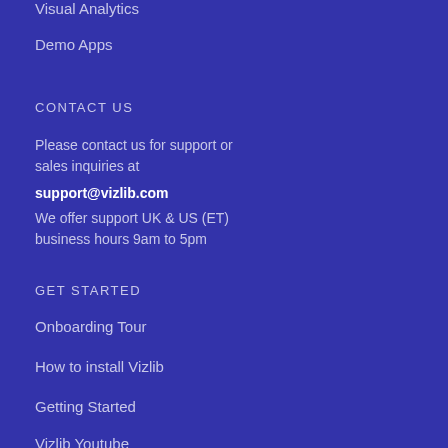Visual Analytics
Demo Apps
CONTACT US
Please contact us for support or sales inquiries at
support@vizlib.com
We offer support UK & US (ET) business hours 9am to 5pm
GET STARTED
Onboarding Tour
How to install Vizlib
Getting Started
Vizlib Youtube